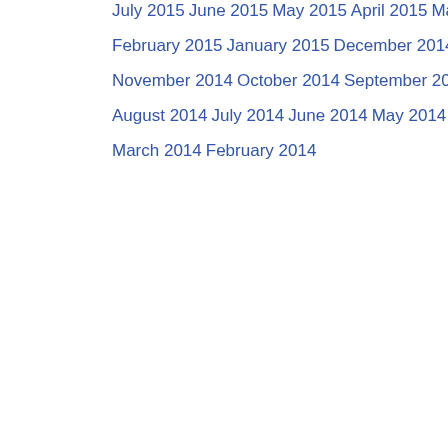July 2015
June 2015
May 2015
April 2015
March 2015
February 2015
January 2015
December 2014
November 2014
October 2014
September 2014
August 2014
July 2014
June 2014
May 2014
April 2014
March 2014
February 2014